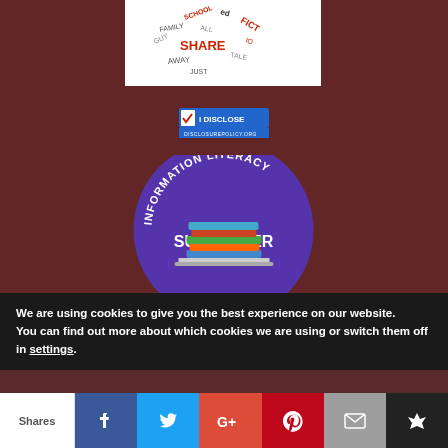[Figure (illustration): Word cloud in heart shape with words like SHARE, FICTION, FAMILY, AWAY, SCHOOL etc. on white background - a reading/books themed badge]
[Figure (logo): I DISCLOSE badge with blue background, checkmark and text disclosurepolicy.org]
[Figure (logo): Information Literacy Supporter circular badge with purple background, books and laptop illustration, white text reading INFORMATION LITERACY SUPPORTER around the edge]
We are using cookies to give you the best experience on our website.
You can find out more about which cookies we are using or switch them off in settings.
[Figure (infographic): Social sharing bar with Shares count, Facebook, Twitter, Google+, Pinterest, Email, and crown/bookmark icons]